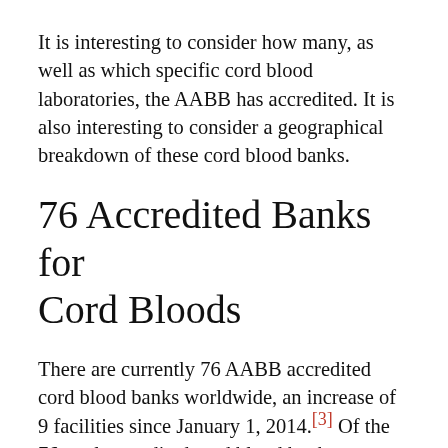It is interesting to consider how many, as well as which specific cord blood laboratories, the AABB has accredited. It is also interesting to consider a geographical breakdown of these cord blood banks.
76 Accredited Banks for Cord Bloods
There are currently 76 AABB accredited cord blood banks worldwide, an increase of 9 facilities since January 1, 2014.[3] Of the 76 total accredited cord blood banks worldwide, 29 are located within the United States, again asserting the